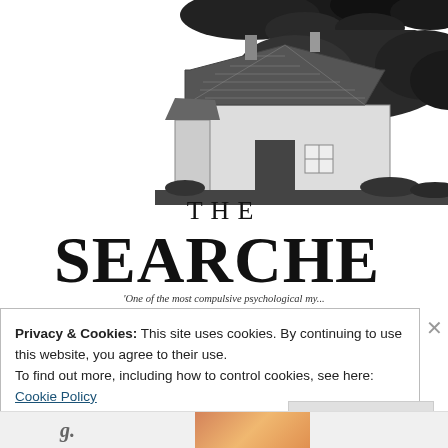[Figure (illustration): Black and white illustration of a barn/farmhouse with chimneys, surrounded by dark trees and foliage at top. Title 'THE SEARCHE' (partially cropped) is overlaid below the barn image. Subtitle text: 'One of the most compulsive psychological my... since Donna Tartt's The Secret History' THE...]
THE SEARCHE
'One of the most compulsive psychological my... since Donna Tartt's The Secret History' THE ...
Privacy & Cookies: This site uses cookies. By continuing to use this website, you agree to their use.
To find out more, including how to control cookies, see here:
Cookie Policy
Close and accept